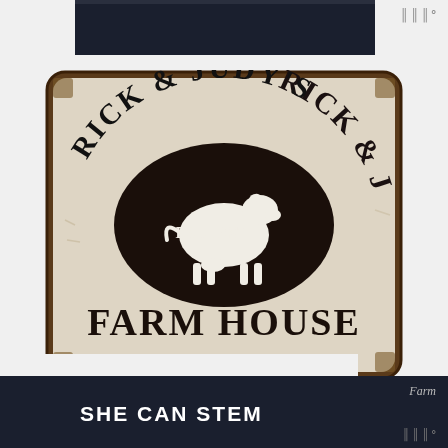[Figure (photo): Dark navy/black bar at the top of the page, partial view of a product image area]
[Figure (photo): Vintage rustic tin sign reading 'RICK & JUDY'S FARM HOUSE EST. 1987' with a cow silhouette in a dark oval center, distressed cream/white background with brown rusty border]
SHE CAN STEM
Farm
WWW°